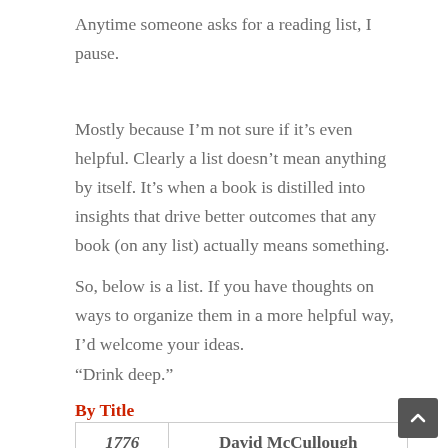Anytime someone asks for a reading list, I pause.
Mostly because I’m not sure if it’s even helpful. Clearly a list doesn’t mean anything by itself. It’s when a book is distilled into insights that drive better outcomes that any book (on any list) actually means something.
So, below is a list. If you have thoughts on ways to organize them in a more helpful way, I’d welcome your ideas.
“Drink deep.”
By Title
|  |  |
| --- | --- |
| 1776 | David McCullough |